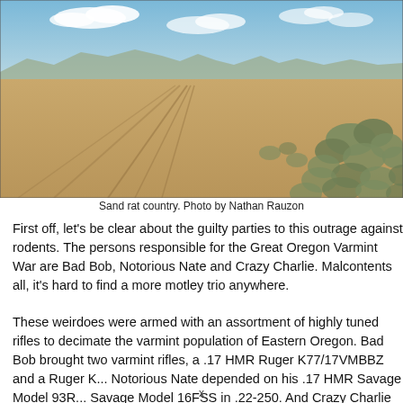[Figure (photo): Wide open flat sandy field with tire tracks stretching into the distance, bordered on the right by sagebrush, mountains on horizon under blue sky with clouds. Sand rat country.]
Sand rat country. Photo by Nathan Rauzon
First off, let's be clear about the guilty parties to this outrage against rodents. The persons responsible for the Great Oregon Varmint War are Bad Bob, Notorious Nate and Crazy Charlie. Malcontents all, it's hard to find a more motley trio anywhere.
These weirdoes were armed with an assortment of highly tuned rifles to decimate the varmint population of Eastern Oregon. Bad Bob brought two varmint rifles, a .17 HMR Ruger K77/17VMBBZ and a Ruger K... Notorious Nate depended on his .17 HMR Savage Model 93R... Savage Model 16FSS in .22-250. And Crazy Charlie relied on...
x